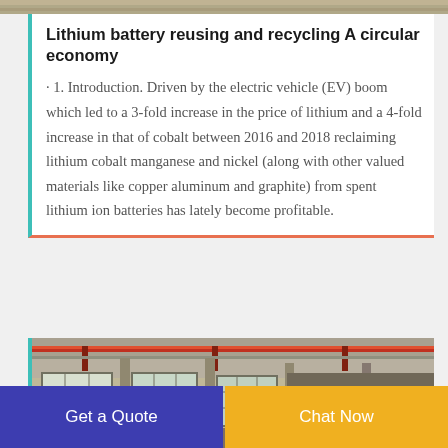[Figure (photo): Top partial strip of an industrial/factory photograph]
Lithium battery reusing and recycling A circular economy
1. Introduction. Driven by the electric vehicle (EV) boom which led to a 3-fold increase in the price of lithium and a 4-fold increase in that of cobalt between 2016 and 2018 reclaiming lithium cobalt manganese and nickel (along with other valued materials like copper aluminum and graphite) from spent lithium ion batteries has lately become profitable.
[Figure (photo): Interior of an industrial factory or recycling facility with large windows, overhead crane, and scattered machinery/materials on the floor]
Get a Quote
Chat Now